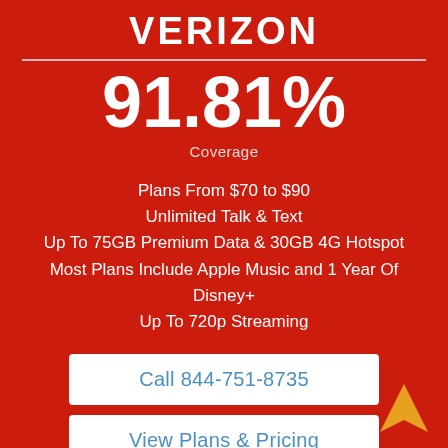VERIZON
91.81%
Coverage
Plans From $70 to $90
Unlimited Talk & Text
Up To 75GB Premium Data & 30GB 4G Hotspot
Most Plans Include Apple Music and 1 Year Of Disney+
Up To 720p Streaming
Call 844-751-8735
View Plans & Pricing